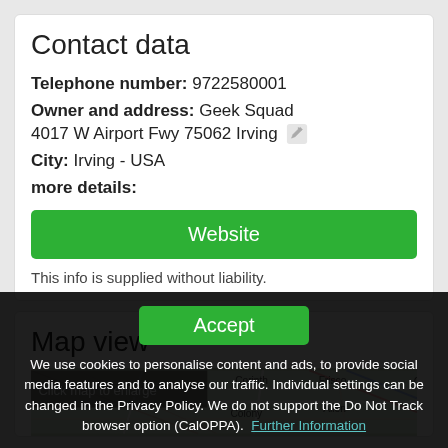Contact data
Telephone number: 9722580001
Owner and address: Geek Squad 4017 W Airport Fwy 75062 Irving
City: Irving - USA
more details:
Website
This info is supplied without liability.
Map view
[Figure (map): Partial map showing Corinth, Frisco, Colony, Allen area in Texas, with 'Click map to enlarge' overlay]
Accept
We use cookies to personalise content and ads, to provide social media features and to analyse our traffic. Individual settings can be changed in the Privacy Policy. We do not support the Do Not Track browser option (CalOPPA). Further Information